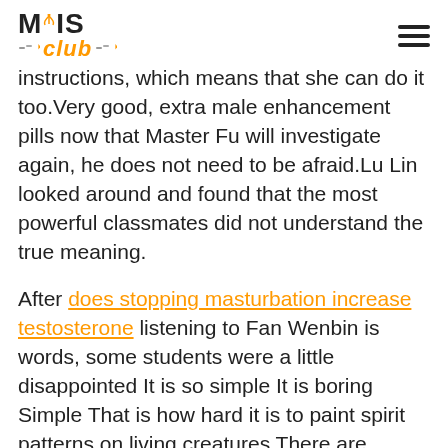MIS Club
instructions, which means that she can do it too.Very good, extra male enhancement pills now that Master Fu will investigate again, he does not need to be afraid.Lu Lin looked around and found that the most powerful classmates did not understand the true meaning.
After does stopping masturbation increase testosterone listening to Fan Wenbin is words, some students were a little disappointed It is so simple It is boring Simple That is how hard it is to paint spirit patterns on living creatures There are students who specialize in spiritual patterns, and they immediately explain.
You treat me blind. Fang Wuji is so ugly, I know him